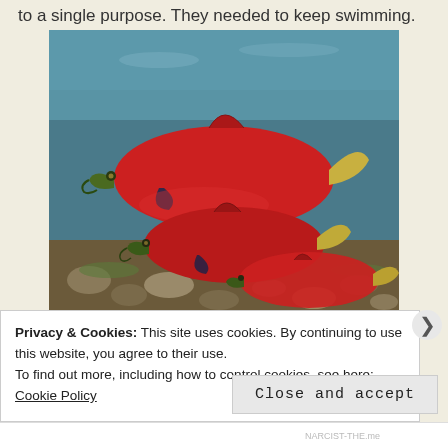to a single purpose. They needed to keep swimming.
[Figure (photo): Underwater photograph of three bright red sockeye salmon swimming near a rocky riverbed with blue-green water in the background.]
Privacy & Cookies: This site uses cookies. By continuing to use this website, you agree to their use.
To find out more, including how to control cookies, see here: Cookie Policy
Close and accept